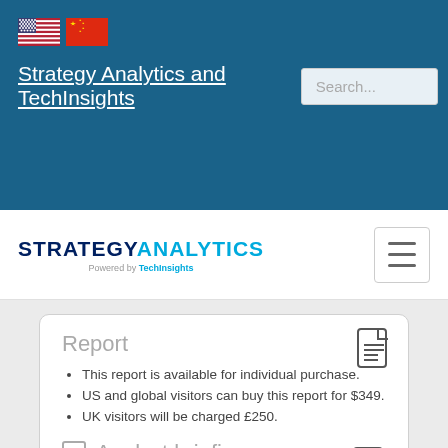Strategy Analytics and TechInsights | Search...
[Figure (logo): Strategy Analytics powered by TechInsights logo with hamburger menu button]
Report
This report is available for individual purchase.
US and global visitors can buy this report for $349.
UK visitors will be charged £250.
Analyst briefing
Add a one hour briefing with an expert